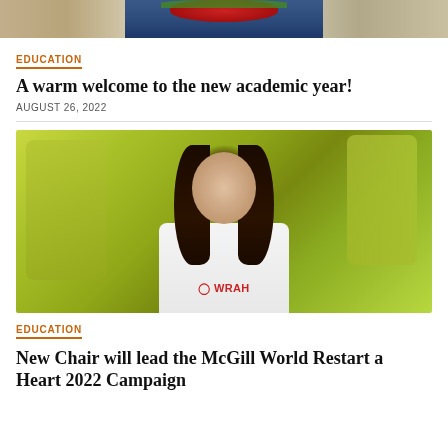[Figure (photo): Partial view of a person in a blue shirt holding red strawberries, cropped at top of page]
EDUCATION
A warm welcome to the new academic year!
AUGUST 26, 2022
[Figure (photo): Young woman with long dark hair smiling, wearing a white t-shirt that reads 'WRAH', standing in front of a yellow-green background]
EDUCATION
New Chair will lead the McGill World Restart a Heart 2022 Campaign